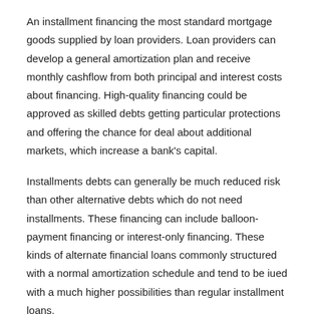An installment financing the most standard mortgage goods supplied by loan providers. Loan providers can develop a general amortization plan and receive monthly cashflow from both principal and interest costs about financing. High-quality financing could be approved as skilled debts getting particular protections and offering the chance for deal about additional markets, which increase a bank's capital.
Installments debts can generally be much reduced risk than other alternative debts which do not need installments. These financing can include balloon-payment financing or interest-only financing. These kinds of alternate financial loans commonly structured with a normal amortization schedule and tend to be iued with a much higher possibilities than regular installment loans.
Types of Installment Debt
Traditional financing from banking institutions for house and vehicles tend to be a prominent supply of financing buying for